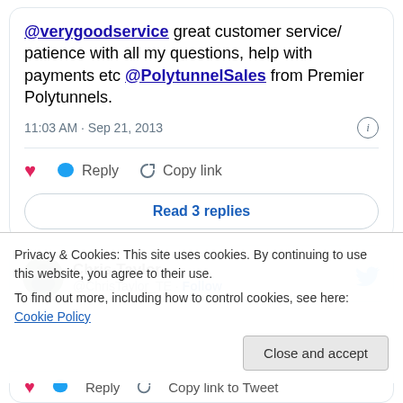@verygoodservice great customer service/ patience with all my questions, help with payments etc @PolytunnelSales from Premier Polytunnels.
11:03 AM · Sep 21, 2013
Reply  Copy link
Read 3 replies
Chris Taylor @ChrisTaylor_TE · Follow
Privacy & Cookies: This site uses cookies. By continuing to use this website, you agree to their use.
To find out more, including how to control cookies, see here: Cookie Policy
Close and accept
Reply  Copy link to Tweet